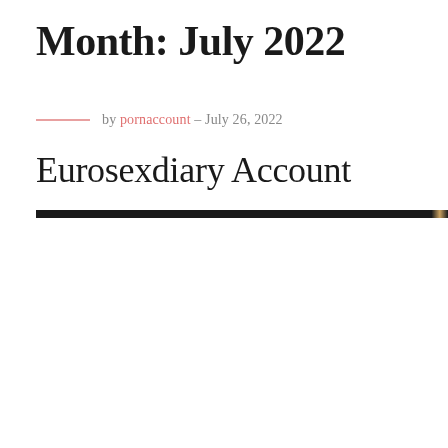Month: July 2022
by pornaccount – July 26, 2022
Eurosexdiary Account